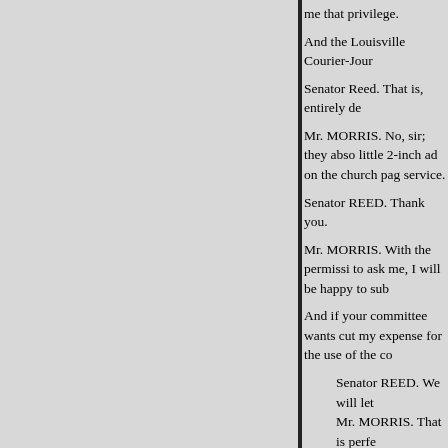me that privilege.
And the Louisville Courier-Jour
Senator Reed. That is, entirely de
Mr. MORRIS. No, sir; they abso little 2-inch ad on the church pag service.
Senator REED. Thank you.
Mr. MORRIS. With the permissi to ask me, I will be happy to sub
And if your committee wants cut my expense for the use of the co
Senator REED. We will let
Mr. MORRIS. That is perfe
Senator REED. Normally, in ver lengthy pamphlet, from some po not undertake to reproduce them
Mr. MORRIS. May I say one
You will see in the front of that a Congress, and I asked my listene